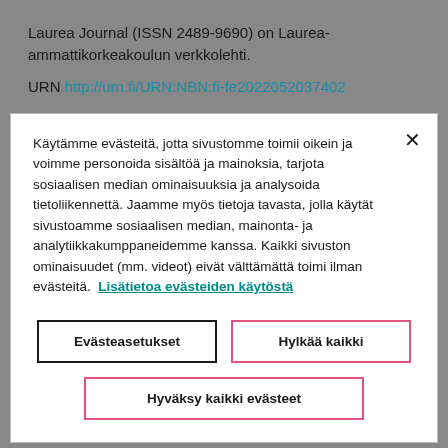Laurea Journal (ISSN 2489-9690) on Laurea-ammattikorkeakoulun verkkolehti.
URN http://urn.fi/URN:NBN:fi-fe2022052037402
Käytämme evästeitä, jotta sivustomme toimii oikein ja voimme personoida sisältöä ja mainoksia, tarjota sosiaalisen median ominaisuuksia ja analysoida tietoliikennettä. Jaamme myös tietoja tavasta, jolla käytät sivustoamme sosiaalisen median, mainonta- ja analytiikkakumppaneidemme kanssa. Kaikki sivuston ominaisuudet (mm. videot) eivät välttämättä toimi ilman evästeitä. Lisätietoa evästeiden käytöstä
Evästeasetukset
Hylkää kaikki
Hyväksy kaikki evästeet